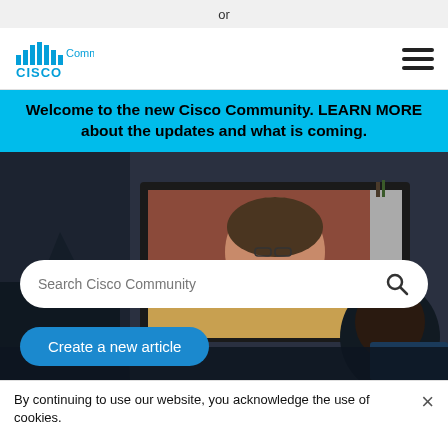or
[Figure (logo): Cisco logo with signal bars icon and 'Community' text in blue]
Welcome to the new Cisco Community. LEARN MORE about the updates and what is coming.
[Figure (photo): A video conference scene showing a woman on a large display screen and two people seated at a desk viewed from behind]
Search Cisco Community
Create a new article
By continuing to use our website, you acknowledge the use of cookies.